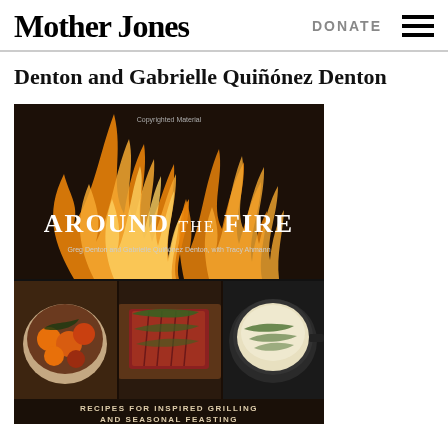Mother Jones | DONATE
Denton and Gabrielle Quiñónez Denton
[Figure (photo): Book cover of 'Around the Fire: Recipes for Inspired Grilling and Seasonal Feasting' by Greg Denton and Gabrielle Quiñónez Denton, with Tracy Ahmann. The cover shows flames at the top with three food photos below: a bowl of grilled vegetables and fruits, a sliced grilled steak with herbs, and a cast iron pan with a creamy dish.]